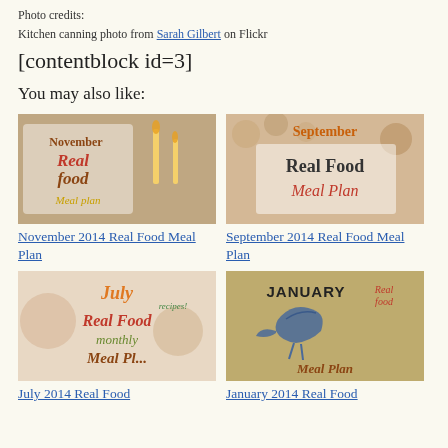Photo credits:
Kitchen canning photo from Sarah Gilbert on Flickr
[contentblock id=3]
You may also like:
[Figure (photo): November Real Food Meal Plan thumbnail with candles]
November 2014 Real Food Meal Plan
[Figure (photo): September Real Food Meal Plan thumbnail]
September 2014 Real Food Meal Plan
[Figure (photo): July 2014 Real Food monthly Meal Plan thumbnail]
July 2014 Real Food
[Figure (photo): January 2014 Real Food Meal Plan thumbnail with bird]
January 2014 Real Food